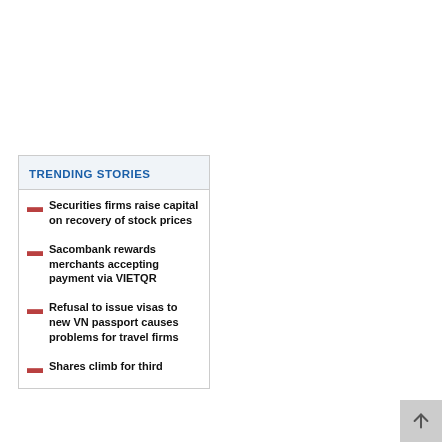TRENDING STORIES
Securities firms raise capital on recovery of stock prices
Sacombank rewards merchants accepting payment via VIETQR
Refusal to issue visas to new VN passport causes problems for travel firms
Shares climb for third